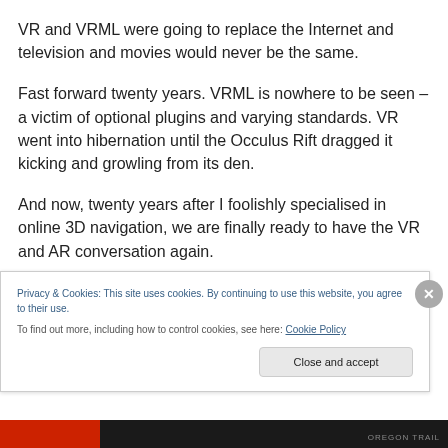VR and VRML were going to replace the Internet and television and movies would never be the same.
Fast forward twenty years. VRML is nowhere to be seen – a victim of optional plugins and varying standards. VR went into hibernation until the Occulus Rift dragged it kicking and growling from its den.
And now, twenty years after I foolishly specialised in online 3D navigation, we are finally ready to have the VR and AR conversation again.
Privacy & Cookies: This site uses cookies. By continuing to use this website, you agree to their use.
To find out more, including how to control cookies, see here: Cookie Policy
Close and accept